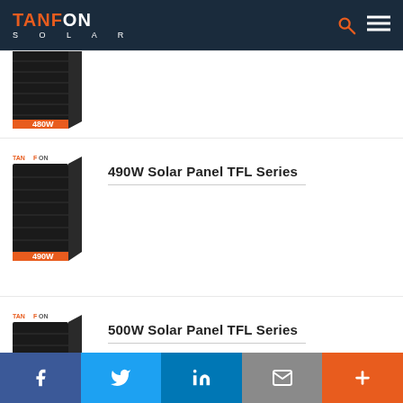TANFON SOLAR
[Figure (photo): 480W solar panel product image with TANFON logo, partially visible]
[Figure (photo): 490W solar panel product image with TANFON logo]
490W Solar Panel TFL Series
[Figure (photo): 500W solar panel product image with TANFON logo]
500W Solar Panel TFL Series
Facebook | Twitter | LinkedIn | Email | More